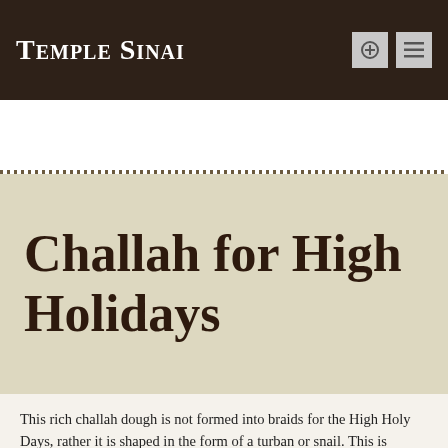Temple Sinai
[Figure (logo): Facebook icon button in olive/dark yellow square]
Challah for High Holidays
This rich challah dough is not formed into braids for the High Holy Days, rather it is shaped in the form of a turban or snail. This is symbolic of the hope that the year will be filled with continuous good health and well being. If the challah is made into one very large challah there is the risk that the center will be under baked or the outer ring will be dry and over baked depending on the baking time you choose. I never use more than 2/3 of the dough to make a large challah.